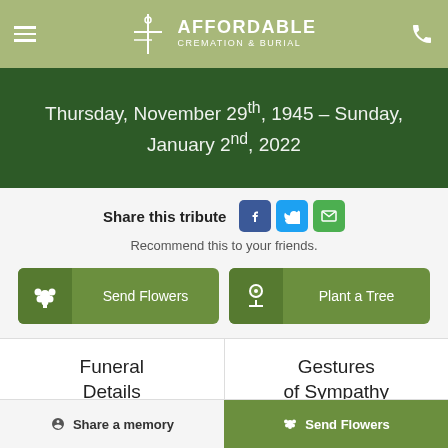AFFORDABLE CREMATION & BURIAL
[Figure (screenshot): Dark green background banner with white text: Thursday, November 29th, 1945 – Sunday, January 2nd, 2022]
Thursday, November 29th, 1945 – Sunday, January 2nd, 2022
Share this tribute
Recommend this to your friends.
Send Flowers
Plant a Tree
Funeral Details
Gestures of Sympathy
Share a memory
Send Flowers